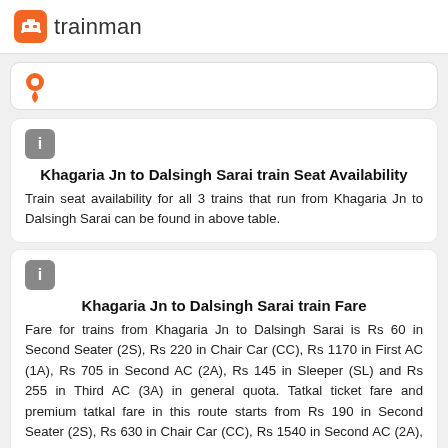trainman
[Figure (other): Search bar with orange location pin icon]
Khagaria Jn to Dalsingh Sarai train Seat Availability
Train seat availability for all 3 trains that run from Khagaria Jn to Dalsingh Sarai can be found in above table.
Khagaria Jn to Dalsingh Sarai train Fare
Fare for trains from Khagaria Jn to Dalsingh Sarai is Rs 60 in Second Seater (2S), Rs 220 in Chair Car (CC), Rs 1170 in First AC (1A), Rs 705 in Second AC (2A), Rs 145 in Sleeper (SL) and Rs 255 in Third AC (3A) in general quota. Tatkal ticket fare and premium tatkal fare in this route starts from Rs 190 in Second Seater (2S), Rs 630 in Chair Car (CC), Rs 1540 in Second AC (2A), Rs 395 in Sleeper (SL) and Rs 890 in Third AC (3A).